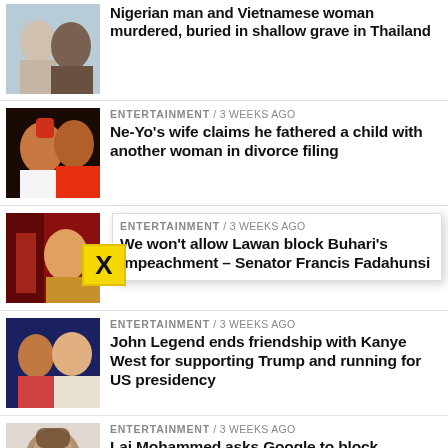Nigerian man and Vietnamese woman murdered, buried in shallow grave in Thailand
ENTERTAINMENT / 3 weeks ago
Ne-Yo's wife claims he fathered a child with another woman in divorce filing
ENTERTAINMENT / 3 weeks ago
We won't allow Lawan block Buhari's impeachment – Senator Francis Fadahunsi
ENTERTAINMENT / 3 weeks ago
John Legend ends friendship with Kanye West for supporting Trump and running for US presidency
ENTERTAINMENT / 3 weeks ago
Lai Mohammed asks Google to block 'terrorist' groups on YouTube